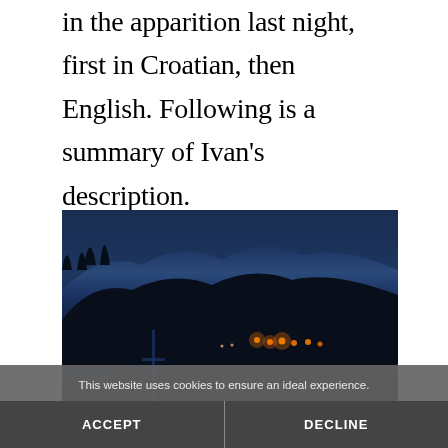in the apparition last night, first in Croatian, then English. Following is a summary of Ivan's description.
[Figure (photo): Twilight/dusk outdoor photo showing a large crowd of people gathered on a hillside at night. Trees are silhouetted against a deep blue sky, hills visible in the background. Orange lights or torches are visible in the middle distance among the crowd.]
This website uses cookies to ensure an ideal experience.
ACCEPT
DECLINE